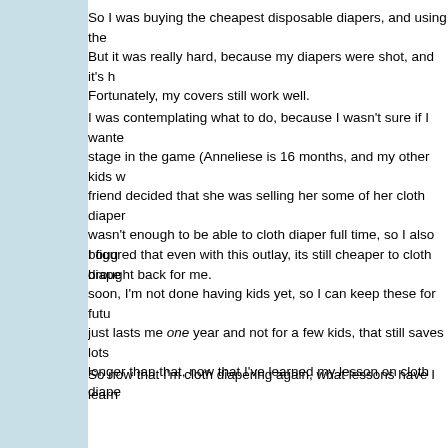So I was buying the cheapest disposable diapers, and using the But it was really hard, because my diapers were shot, and it's h Fortunately, my covers still work well.
I was contemplating what to do, because I wasn't sure if I wante stage in the game (Anneliese is 16 months, and my other kids w friend decided that she was selling her some of her cloth diaper wasn't enough to be able to cloth diaper full time, so I also boug brought back for me.
I figured that even with this outlay, its still cheaper to cloth diape soon, I'm not done having kids yet, so I can keep these for futu just lasts me one year and not for a few kids, that still saves lots longer than that, now that I've learned my lesson on cloth diape
So now that I'm cloth diapering again, what lessons have I learn
1) Because the biggest reason why I fall behind on cloth diaper food and have grosser poops is because I put the dirty diapers before washing them, I don't always feel like pre-rinsing all the p poop diapers in a row is really gross, not to mention that bendir let them sit far too long.
So I've started rinsing each poopy diaper before it goes into the